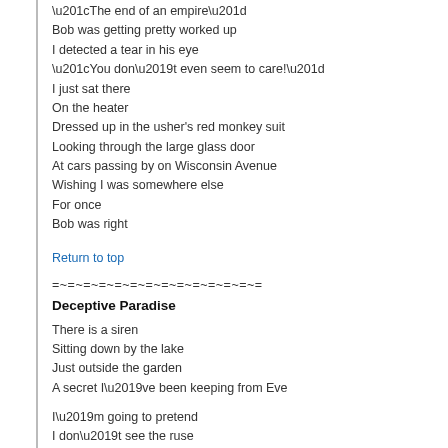“The end of an empire”
Bob was getting pretty worked up
I detected a tear in his eye
“You don’t even seem to care!”
I just sat there
On the heater
Dressed up in the usher's red monkey suit
Looking through the large glass door
At cars passing by on Wisconsin Avenue
Wishing I was somewhere else
For once
Bob was right
Return to top
=~=~=~=~=~=~=~=~=~=~=~=~=~=
Deceptive Paradise
There is a siren
Sitting down by the lake
Just outside the garden
A secret I’ve been keeping from Eve
I’m going to pretend
I don’t see the ruse
Then again
I know what I’ve got to do
Sometimes I feel I should just let it all go
Then again
I know
It’s nothing six thousand years of men